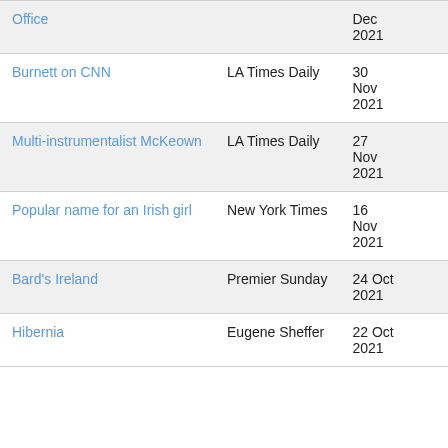| Title | Source | Date |
| --- | --- | --- |
| Office |  | Dec 2021 |
| Burnett on CNN | LA Times Daily | 30 Nov 2021 |
| Multi-instrumentalist McKeown | LA Times Daily | 27 Nov 2021 |
| Popular name for an Irish girl | New York Times | 16 Nov 2021 |
| Bard's Ireland | Premier Sunday | 24 Oct 2021 |
| Hibernia | Eugene Sheffer | 22 Oct 2021 |